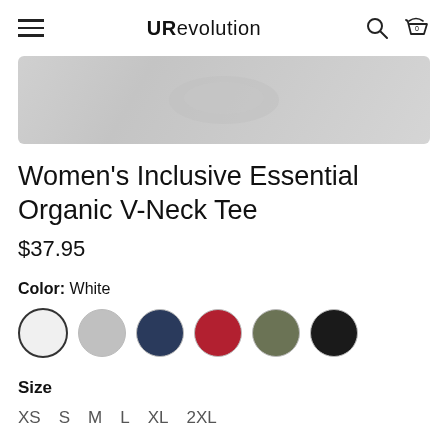URevolution
[Figure (photo): Product image placeholder - blurred/light gray rectangle showing a women's tee shirt]
Women's Inclusive Essential Organic V-Neck Tee
$37.95
Color: White
[Figure (other): Color swatches: White (selected), Light Gray, Navy, Red, Olive, Black]
Size
XS  S  M  L  XL  2XL